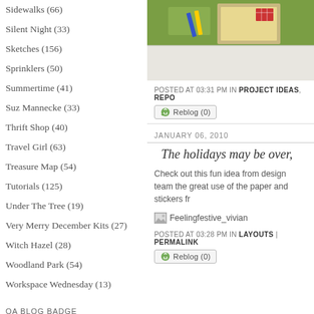Sidewalks (66)
Silent Night (33)
Sketches (156)
Sprinklers (50)
Summertime (41)
Suz Mannecke (33)
Thrift Shop (40)
Travel Girl (63)
Treasure Map (54)
Tutorials (125)
Under The Tree (19)
Very Merry December Kits (27)
Witch Hazel (28)
Woodland Park (54)
Workspace Wednesday (13)
OA BLOG BADGE
[Figure (photo): Photo strip showing a framed or flat-lay craft/scrapbooking image on a white surface]
POSTED AT 03:31 PM IN PROJECT IDEAS, REPO
Reblog (0)
JANUARY 06, 2010
The holidays may be over,
Check out this fun idea from design team the great use of the paper and stickers fr
[Figure (photo): Image placeholder: Feelingfestive_vivian]
POSTED AT 03:28 PM IN LAYOUTS | PERMALINK
Reblog (0)